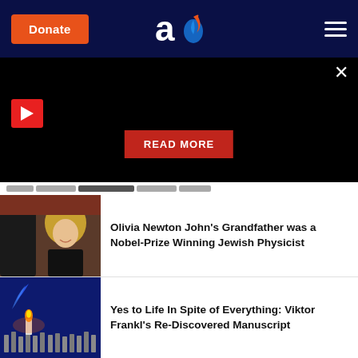Donate | Aish logo | Menu
[Figure (screenshot): Dark promo panel with play button, READ MORE button, and close X button]
READ MORE
[Figure (photo): Olivia Newton-John in a scene from Grease, blonde curly hair, black leather jacket]
Olivia Newton John's Grandfather was a Nobel-Prize Winning Jewish Physicist
[Figure (photo): Candle flame among candles on blue background]
Yes to Life In Spite of Everything: Viktor Frankl's Re-Discovered Manuscript